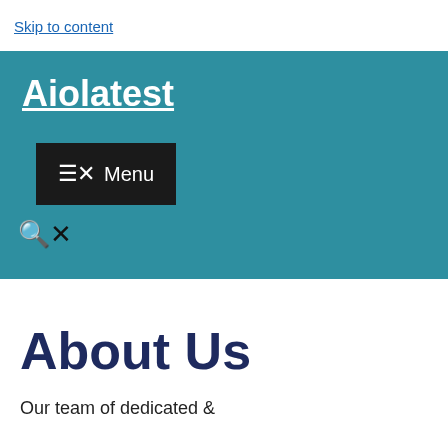Skip to content
Aiolatest
[Figure (screenshot): Navigation header with teal background showing site title 'Aiolatest', a dark menu button with hamburger/close icon and 'Menu' text, and a search icon row with magnifying glass and X icons.]
About Us
Our team of dedicated &